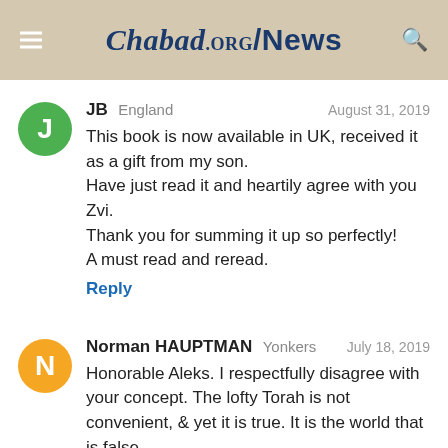Chabad.org/News
JB England August 31, 2019
This book is now available in UK, received it as a gift from my son.
Have just read it and heartily agree with you Zvi.
Thank you for summing it up so perfectly!
A must read and reread.
Reply
Norman HAUPTMAN Yonkers July 18, 2019
Honorable Aleks. I respectfully disagree with your concept. The lofty Torah is not convenient, & yet it is true. It is the world that is false.